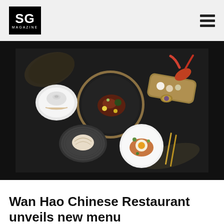SG MAGAZINE
[Figure (photo): Overhead flat-lay food photography on dark slate background showing multiple Chinese fine-dining dishes: a soup bowl with lid, a gold-rimmed plate with meat and garnish in center, a gold tray with lobster and small bites, a dark ridged plate with dumplings, a white plate with egg and sauce dish, and gold chopsticks, plus decorative dried leaves]
Wan Hao Chinese Restaurant unveils new menu